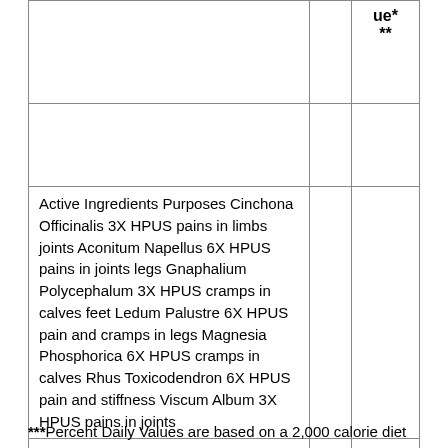|  |  | ue*
** |
|  |  |  |
| Active Ingredients Purposes Cinchona Officinalis 3X HPUS pains in limbs joints Aconitum Napellus 6X HPUS pains in joints legs Gnaphalium Polycephalum 3X HPUS cramps in calves feet Ledum Palustre 6X HPUS pain and cramps in legs Magnesia Phosphorica 6X HPUS cramps in calves Rhus Toxicodendron 6X HPUS pain and stiffness Viscum Album 3X HPUS pains in joints |  |  |
|  |  |  |
***Percent Daily Values are based on a 2,000 calorie diet